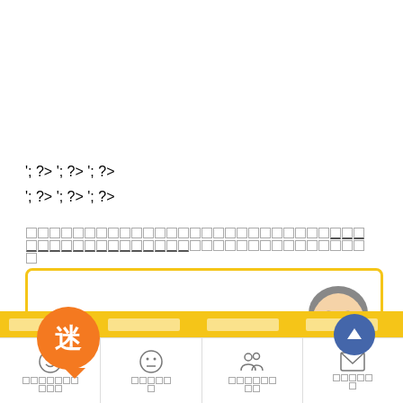□□□□□□□□□□□□□□□□□□□□□□□□□□□□□□□□□□□□□□□□□□□□□□□□□□□□□□□□□□□□□□□□□□□□□□□□□□□□□□□□□□□□□□□□□□□□□□□□□□□□□□□□□□□□□□□□□□□□□□□□□□□□□□□□□□□□□□□□□□□□□□□□□□□□□□□□□□□□□□□□□□□□□□□□□□□□□□□□□□□□□□□□□□□□□□□□□□□□□□□□□□□□□□□□□□□□□□□□□□□□□□□□□□□□□□□□□□□□□□□□□□□□□□□□□□□□□□□□□□□□□□□□□□□□□□□□□□□□□□□□□□□□□□□□□□□□□□□□□□□□□□□□□□□□□□□□□□□□□□□□□□□□□□□□□□□□□□□□□□□□□□□□□□□□□□□□□□□□□□□□□□□□□□□□□□□□□□□□□□□□□□□□□□□□□□□□□□□□□□□□□□□□□□□□□□□□□□□□□□□□□□□□□□□□□□□□□□□□□□□□□□□□□□□□□□□□□□□□□□□□□□□□□□□□□□□□□□□□□□□□□□□□□□□□□□□□□□□□□□□□□□□□□□□□□□□□□□□□□□□□□□□□□□□□□□□□□□□□□□□□□□□□□□□□□□□□□□□□□□□□□
□□□□□□□□□□□□□□□□□□□□□□□□□□□□□□□□□□□□□□□□□□□□□□□□□□□□□□□□□□□□□□□□□□□□□□□□□□□□□□□□□□□□□□□□□□□□□□□□□□□□□□□□□□□□□□□□□□□□□□□□□□□□□□□□□
[Figure (illustration): Advertisement banner with yellow border. Orange circle with kanji '迷' (meaning confusion/lost). Japanese text reads '税理士選びで っていませんか?' (Are you confused about choosing a tax accountant?). Illustration of a man's face on the right side. Blue circular back-to-top button with upward arrow.]
[Figure (infographic): Bottom navigation bar with 4 items: smiley face icon with Japanese label, neutral face icon with Japanese label, people icon with Japanese label, envelope icon with Japanese label. Partial banner at bottom showing photo thumbnails.]